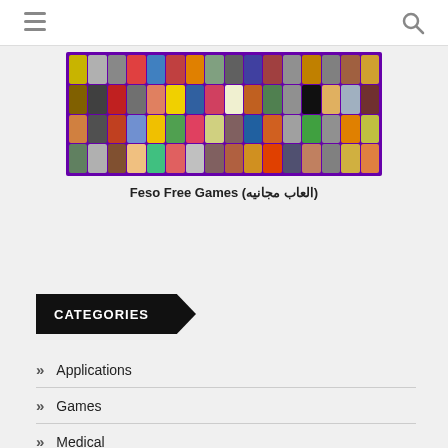Navigation bar with hamburger menu and search icon
[Figure (screenshot): Grid of colorful game thumbnails on purple background, showing multiple rows of small game icons]
Feso Free Games (العاب مجانيه)
CATEGORIES
» Applications
» Games
» Medical